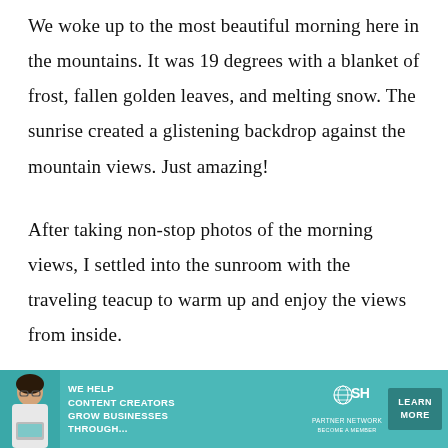We woke up to the most beautiful morning here in the mountains. It was 19 degrees with a blanket of frost, fallen golden leaves, and melting snow. The sunrise created a glistening backdrop against the mountain views. Just amazing!
After taking non-stop photos of the morning views, I settled into the sunroom with the traveling teacup to warm up and enjoy the views from inside.
[Figure (other): Advertisement banner for SHE Media Partner Network. Text reads: WE HELP CONTENT CREATORS GROW BUSINESSES THROUGH... with SHE logo and LEARN MORE button. Teal/turquoise background.]